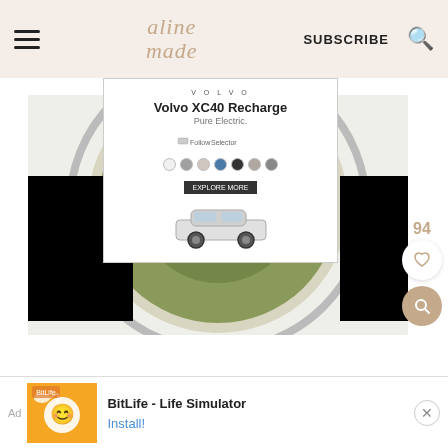aline made | SUBSCRIBE
[Figure (photo): Top-down view of a food processor/blender bowl with green herb mixture (pesto), white background, with Volvo XC40 Recharge advertisement overlay]
Volvo XC40 Recharge
Pure Electric.
[Figure (infographic): Bottom banner advertisement for BitLife - Life Simulator app showing colorful game imagery and install button]